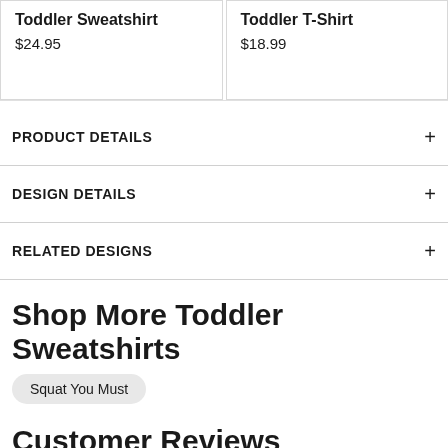Toddler Sweatshirt
$24.95
Toddler T-Shirt
$18.99
PRODUCT DETAILS
DESIGN DETAILS
RELATED DESIGNS
Shop More Toddler Sweatshirts
Squat You Must
Customer Reviews